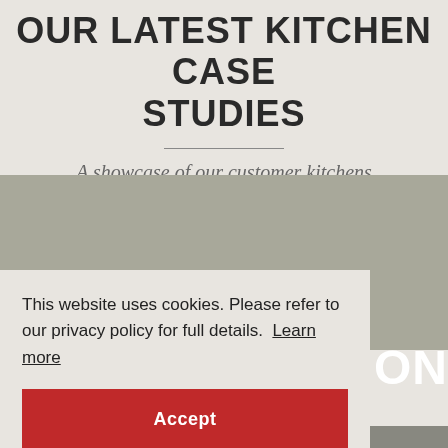OUR LATEST KITCHEN CASE STUDIES
A showcase of our customer kitchens
[Figure (photo): Large grey placeholder image for a kitchen photo]
This website uses cookies. Please refer to our privacy policy for full details. Learn more
Accept